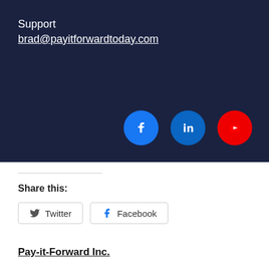Support
brad@payitforwardtoday.com
[Figure (infographic): Three social media icons in circles: Facebook (blue), LinkedIn (blue), YouTube (red)]
Share this:
Twitter  Facebook
Pay-it-Forward Inc.